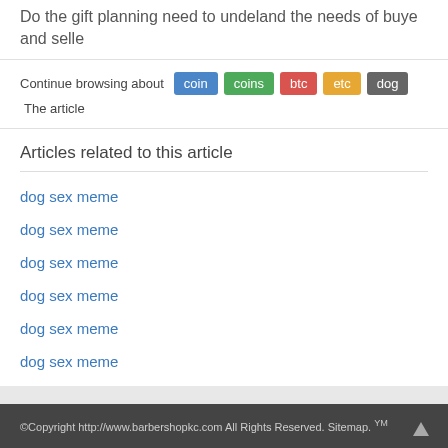Do the gift planning need to undeland the needs of buye and selle
Continue browsing about coin coins btc etc dog The article
Articles related to this article
dog sex meme
dog sex meme
dog sex meme
dog sex meme
dog sex meme
dog sex meme
©Copyright http://www.barbershopkc.com All Rights Reserved. Sitemap. YM ᅟᅟᅟᅟᅟᅟᅟ